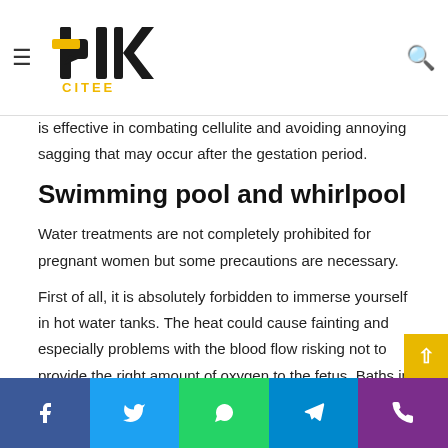blkcitee website header with hamburger menu, logo, and search icon
Even the lymphatic drainage massage can be performed during pregnancy, counteracting fluid retention: this allows us to eliminate swelling and heaviness in legs, ankles and feet, typical drawbacks of pregnancy. Moreover, it is effective in combating cellulite and avoiding annoying sagging that may occur after the gestation period.
Swimming pool and whirlpool
Water treatments are not completely prohibited for pregnant women but some precautions are necessary.
First of all, it is absolutely forbidden to immerse yourself in hot water tanks. The heat could cause fainting and especially problems with the blood flow risking not to provide the right amount of oxygen to the fetus. Baths in warm water are always to be preferred. Also forbidden the Kneipp path and
Facebook Twitter WhatsApp Telegram Phone social share bar